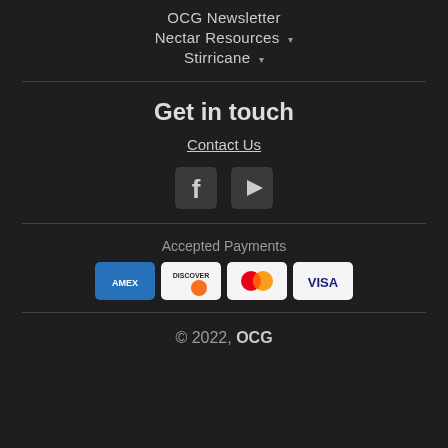OCG Newsletter
Nectar Resources ▾
Stirricane ▾
Get in touch
Contact Us
[Figure (illustration): Facebook and YouTube social media icons rendered as grey squares with white logos]
Accepted Payments
[Figure (illustration): Four payment method badges: AMEX (blue), Discover (orange/white), Mastercard (red/orange circles), Visa (white on blue)]
© 2022, OCG